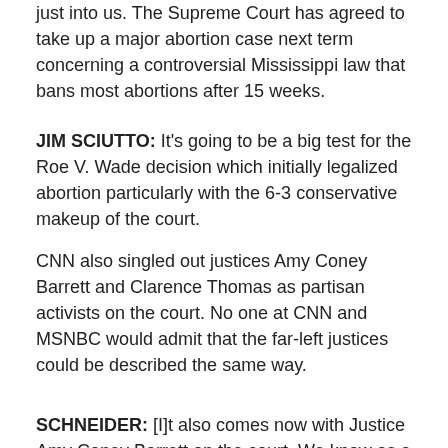just into us. The Supreme Court has agreed to take up a major abortion case next term concerning a controversial Mississippi law that bans most abortions after 15 weeks.
JIM SCIUTTO:  It's going to be a big test for the Roe V. Wade decision which initially legalized abortion particularly with the 6-3 conservative makeup of the court.
CNN also singled out justices Amy Coney Barrett and Clarence Thomas as partisan activists on the court. No one at CNN and MSNBC would admit that the far-left justices could be described the same way.
SCHNEIDER: [I]t also comes now with Justice Amy Coney Barrett on the court. We know as a